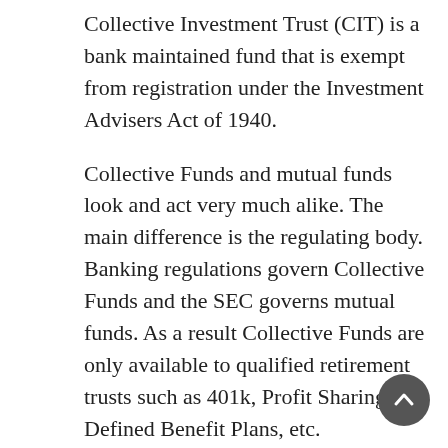Collective Investment Trust (CIT) is a bank maintained fund that is exempt from registration under the Investment Advisers Act of 1940.
Collective Funds and mutual funds look and act very much alike. The main difference is the regulating body. Banking regulations govern Collective Funds and the SEC governs mutual funds. As a result Collective Funds are only available to qualified retirement trusts such as 401k, Profit Sharing, Defined Benefit Plans, etc.